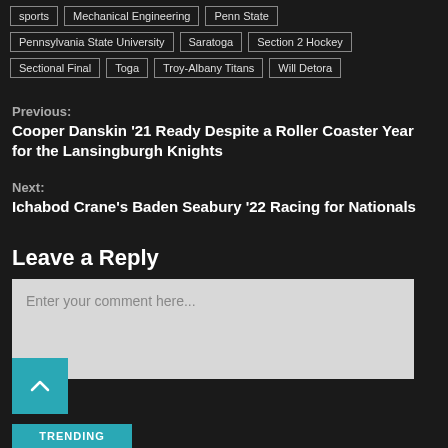sports
Mechanical Engineering
Penn State
Pennsylvania State University
Saratoga
Section 2 Hockey
Sectional Final
Toga
Troy-Albany Titans
Will Detora
Previous:
Cooper Danskin ’21 Ready Despite a Roller Coaster Year for the Lansingburgh Knights
Next:
Ichabod Crane’s Baden Seabury ’22 Racing for Nationals
Leave a Reply
Enter your comment here...